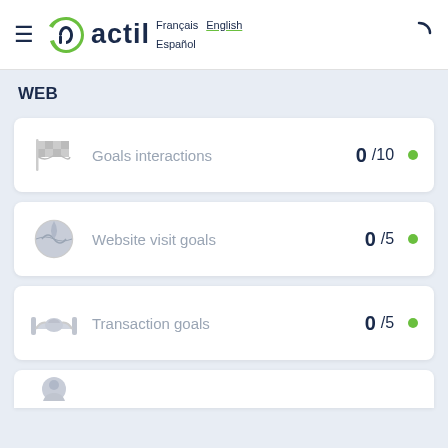[Figure (logo): Actil logo with green stylized 'a' icon and dark navy 'actil' wordmark, with language links: Français, English, Español]
WEB
Goals interactions 0/10
Website visit goals 0/5
Transaction goals 0/5